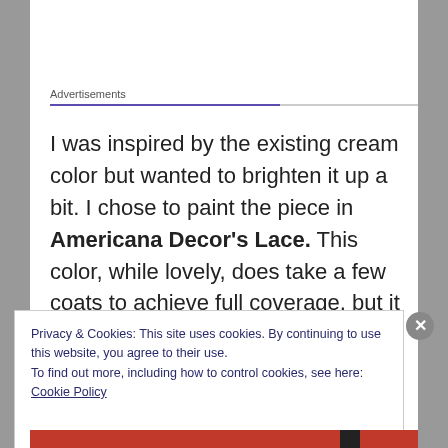Advertisements
I was inspired by the existing cream color but wanted to brighten it up a bit. I chose to paint the piece in Americana Decor's Lace. This color, while lovely, does take a few coats to achieve full coverage, but it was certainly worth it in the end.
Privacy & Cookies: This site uses cookies. By continuing to use this website, you agree to their use.
To find out more, including how to control cookies, see here: Cookie Policy
Close and accept